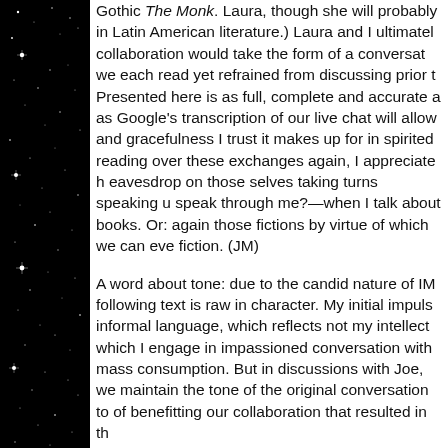[Figure (photo): Dark starfield background on the left side of the page, black with scattered white star points]
Gothic The Monk. Laura, though she will probably in Latin American literature.) Laura and I ultimatel collaboration would take the form of a conversat we each read yet refrained from discussing prior t Presented here is as full, complete and accurate a as Google's transcription of our live chat will allow and gracefulness I trust it makes up for in spirited reading over these exchanges again, I appreciate h eavesdrop on those selves taking turns speaking u speak through me?—when I talk about books. Or: again those fictions by virtue of which we can eve fiction. (JM)
A word about tone: due to the candid nature of IM following text is raw in character. My initial impuls informal language, which reflects not my intellect which I engage in impassioned conversation with mass consumption. But in discussions with Joe, we maintain the tone of the original conversation to of benefitting our collaboration that resulted in th